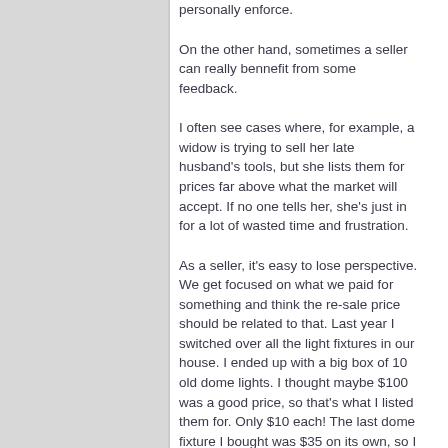personally enforce.
On the other hand, sometimes a seller can really bennefit from some feedback.
I often see cases where, for example, a widow is trying to sell her late husband's tools, but she lists them for prices far above what the market will accept. If no one tells her, she's just in for a lot of wasted time and frustration.
As a seller, it's easy to lose perspective. We get focused on what we paid for something and think the re-sale price should be related to that. Last year I switched over all the light fixtures in our house. I ended up with a big box of 10 old dome lights. I thought maybe $100 was a good price, so that's what I listed them for. Only $10 each! The last dome fixture I bought was $35 on its own, so I